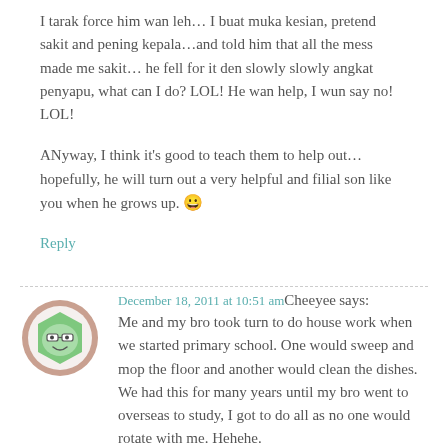I tarak force him wan leh… I buat muka kesian, pretend sakit and pening kepala…and told him that all the mess made me sakit… he fell for it den slowly slowly angkat penyapu, what can I do? LOL! He wan help, I wun say no! LOL!
ANyway, I think it's good to teach them to help out…hopefully, he will turn out a very helpful and filial son like you when he grows up. 😀
Reply
December 18, 2011 at 10:51 am Cheeyee says:
[Figure (illustration): Round avatar icon with a cartoon face wearing glasses, green geometric design with pinkish-brown border]
Me and my bro took turn to do house work when we started primary school. One would sweep and mop the floor and another would clean the dishes. We had this for many years until my bro went to overseas to study, I got to do all as no one would rotate with me. Hehehe.
As for my kids, the girl will help us vacuum the